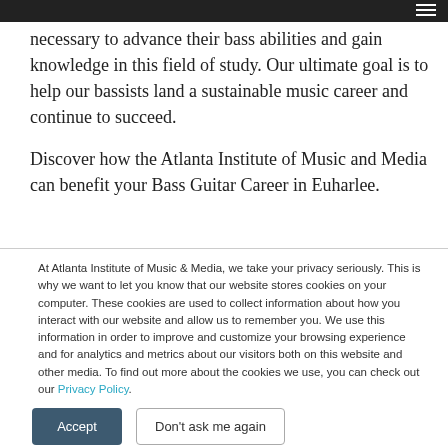necessary to advance their bass abilities and gain knowledge in this field of study. Our ultimate goal is to help our bassists land a sustainable music career and continue to succeed.
Discover how the Atlanta Institute of Music and Media can benefit your Bass Guitar Career in Euharlee.
At Atlanta Institute of Music & Media, we take your privacy seriously. This is why we want to let you know that our website stores cookies on your computer. These cookies are used to collect information about how you interact with our website and allow us to remember you. We use this information in order to improve and customize your browsing experience and for analytics and metrics about our visitors both on this website and other media. To find out more about the cookies we use, you can check out our Privacy Policy.